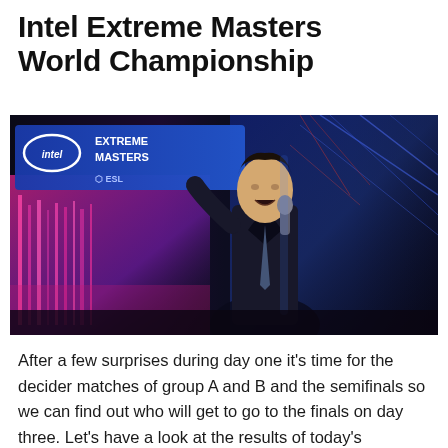Intel Extreme Masters World Championship
[Figure (photo): Event photo showing an announcer/presenter holding a microphone at the Intel Extreme Masters esports event, with a blue-lit stage backdrop showing the Intel Extreme Masters and ESL logos on the left side and bright blue and red stage lighting on the right.]
After a few surprises during day one it's time for the decider matches of group A and B and the semifinals so we can find out who will get to go to the finals on day three. Let's have a look at the results of today's matches!